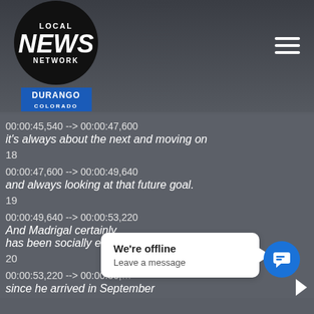[Figure (logo): Local News Network Durango Colorado logo in circular badge with hamburger menu icon]
00:00:45,540 --> 00:00:47,600
it's always about the next and moving on
18
00:00:47,600 --> 00:00:49,640
and always looking at that future goal.
19
00:00:49,640 --> 00:00:53,220
And Madrigal certainly
has been socially engaged
20
00:00:53,220 --> 00:00:56,5
since he arrived in September
[Figure (screenshot): Chat widget showing 'We're offline - Leave a message' popup with blue chat icon]